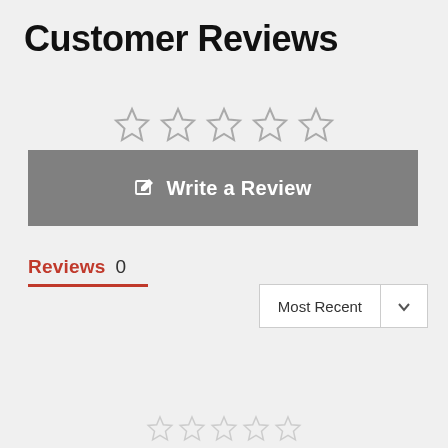Customer Reviews
[Figure (other): Five empty star rating icons displayed in a row]
Write a Review
Reviews  0
Most Recent